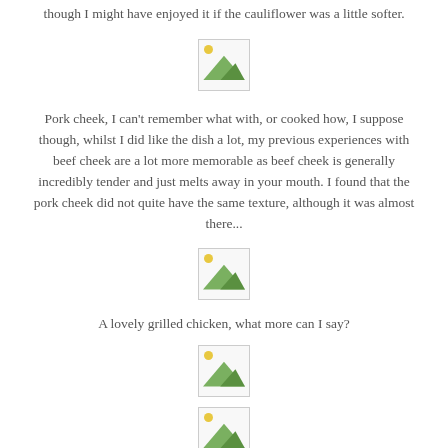though I might have enjoyed it if the cauliflower was a little softer.
[Figure (photo): Broken/missing image placeholder (food photo)]
Pork cheek, I can't remember what with, or cooked how, I suppose though, whilst I did like the dish a lot, my previous experiences with beef cheek are a lot more memorable as beef cheek is generally incredibly tender and just melts away in your mouth. I found that the pork cheek did not quite have the same texture, although it was almost there...
[Figure (photo): Broken/missing image placeholder (food photo)]
A lovely grilled chicken, what more can I say?
[Figure (photo): Broken/missing image placeholder (food photo)]
[Figure (photo): Broken/missing image placeholder (food photo)]
One of the main options from the Bastille day menu, some succulent wagyu beef with a side of perfectly crisp fries. I loved the nonchalant presentation in